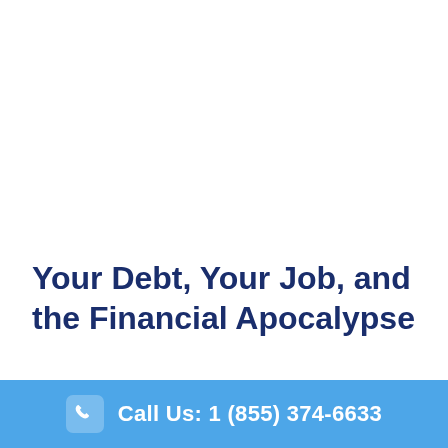Your Debt, Your Job, and the Financial Apocalypse
Your Debt, Your Job, and the Financial Apocalypse It's no secret...
Call Us: 1 (855) 374-6633